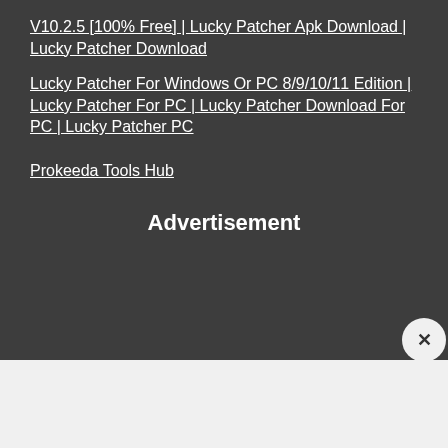V10.2.5 [100% Free] | Lucky Patcher Apk Download | Lucky Patcher Download
Lucky Patcher For Windows Or PC 8/9/10/11 Edition | Lucky Patcher For PC | Lucky Patcher Download For PC | Lucky Patcher PC
Prokeeda Tools Hub
Advertisement